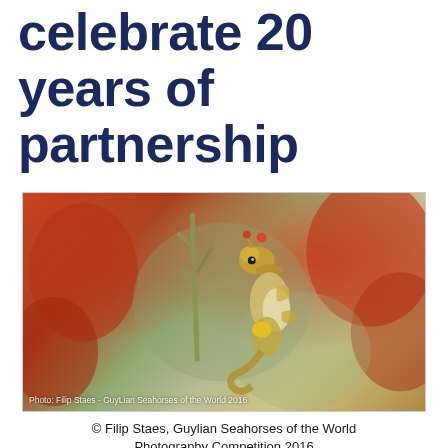celebrate 20 years of partnership
[Figure (photo): Close-up photograph of a pygmy seahorse (yellow/white with red accents) clinging to a coral branch, surrounded by red and orange coral background. Photo credit: Filip Staes - GuyLian Seahorses of the World 2016.]
© Filip Staes, Guylian Seahorses of the World Photography Competition 2016